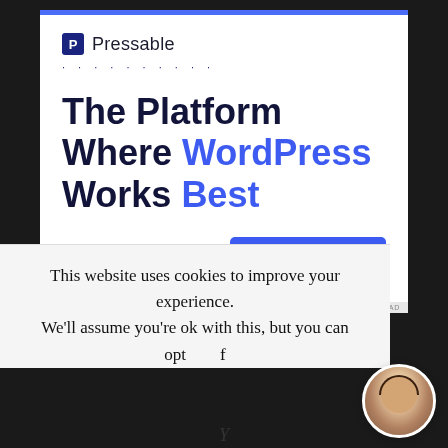[Figure (screenshot): Pressable advertisement banner with logo, dotted separator, headline 'The Platform Where WordPress Works Best', and blue 'SEE PRICING' button]
This website uses cookies to improve your experience. We'll assume you're ok with this, but you can opt
[Figure (photo): Circular avatar photo of a smiling woman with dark hair]
Y